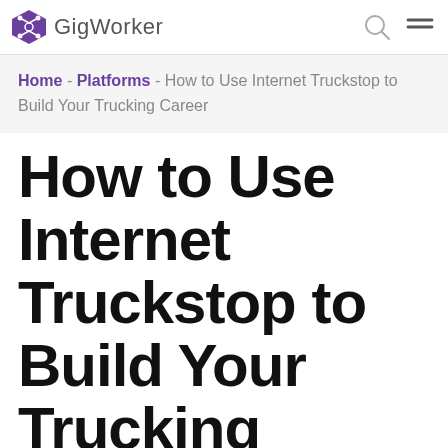GigWorker
Home - Platforms - How to Use Internet Truckstop to Build Your Trucking Career
How to Use Internet Truckstop to Build Your Trucking Career